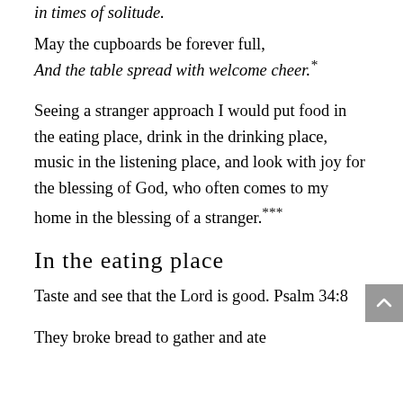in times of solitude.
May the cupboards be forever full,
And the table spread with welcome cheer.*
Seeing a stranger approach I would put food in the eating place, drink in the drinking place, music in the listening place, and look with joy for the blessing of God, who often comes to my home in the blessing of a stranger.***
In the eating place
Taste and see that the Lord is good. Psalm 34:8
They broke bread to gather and ate